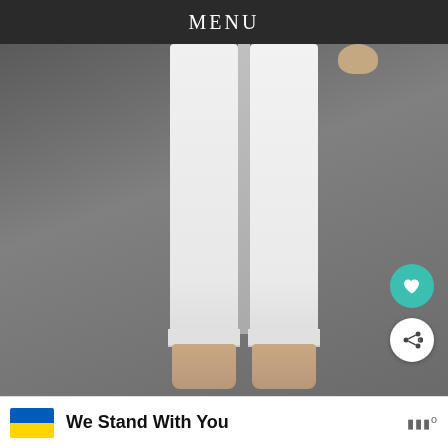MENU
[Figure (photo): Close-up photo of a person's lower body wearing white straight-leg pants and gold/nude strappy sandal heels, standing on a grey pavement surface. A hand with rings is partially visible at the top right.]
Lori Harvey in a cropped white blazer paired w... straight-leg pants arriving at the Michael Kor... Fall/Winter 2022 Fashion Show at Terminal 5 during New York Fashion Week on February 15, 2022, in New York City (Credit:
WHAT'S NEXT → Stand Out This Holiday...
We Stand With You